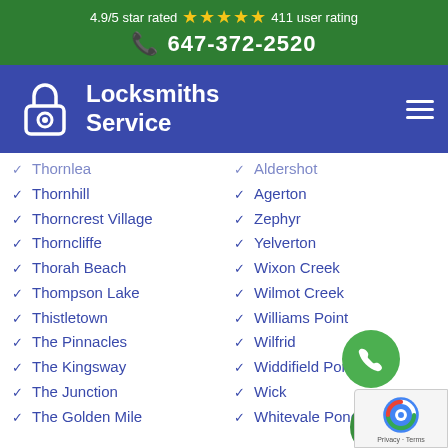4.9/5 star rated ★★★★★ 411 user rating
647-372-2520
[Figure (logo): Locksmiths Service logo with padlock icon on dark blue nav bar]
Thornlea
Aldershot
Thornhill
Agerton
Thorncrest Village
Zephyr
Thorncliffe
Yelverton
Thorah Beach
Wixon Creek
Thompson Lake
Wilmot Creek
Thistletown
Williams Point
The Pinnacles
Wilfrid
The Kingsway
Widdifield Pond
The Junction
Wick
The Golden Mile
Whitevale Pond